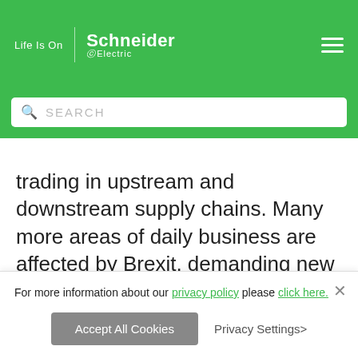[Figure (logo): Schneider Electric 'Life Is On' logo in white on green background with hamburger menu icon]
[Figure (screenshot): Search bar with placeholder text 'SEARCH' on green background]
trading in upstream and downstream supply chains. Many more areas of daily business are affected by Brexit, demanding new processes and extra resources across business functions. Here, we will have a closer look into the area of sustainability, anticipating effects on the UK's climate & green journey and highlighting the main changes in associated
For more information about our privacy policy please click here.
Accept All Cookies   Privacy Settings>